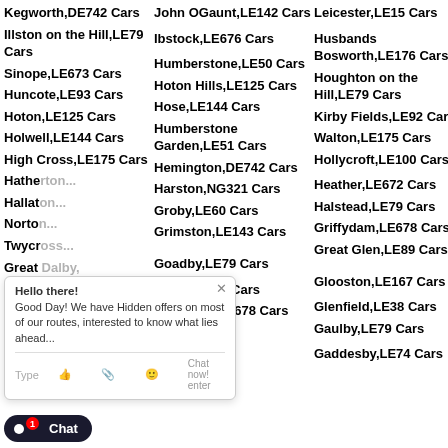Kegworth,DE742 Cars
Illston on the Hill,LE79 Cars
Sinope,LE673 Cars
Huncote,LE93 Cars
Hoton,LE125 Cars
Holwell,LE144 Cars
High Cross,LE175 Cars
Hathe...
Hallat...
Norton...
Twycr...
Great ... Cars
Glen P...
Hi...100 Cars
Garthorne,LE142 Cars
John OGaunt,LE142 Cars
Ibstock,LE676 Cars
Humberstone,LE50 Cars
Hoton Hills,LE125 Cars
Hose,LE144 Cars
Humberstone Garden,LE51 Cars
Hemington,DE742 Cars
Harston,NG321 Cars
Groby,LE60 Cars
Grimston,LE143 Cars
Goadby,LE79 Cars
Hoby,LE143 Cars
Gelsmoor,LE678 Cars
Goadby
Leicester,LE15 Cars
Husbands Bosworth,LE176 Cars
Houghton on the Hill,LE79 Cars
Kirby Fields,LE92 Cars
Walton,LE175 Cars
Hollycroft,LE100 Cars
Heather,LE672 Cars
Halstead,LE79 Cars
Griffydam,LE678 Cars
Great Glen,LE89 Cars
Glooston,LE167 Cars
Glenfield,LE38 Cars
Gaulby,LE79 Cars
Gaddesby,LE74 Cars